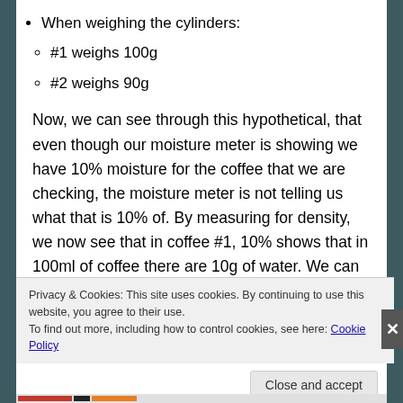When weighing the cylinders:
#1 weighs 100g
#2 weighs 90g
Now, we can see through this hypothetical, that even though our moisture meter is showing we have 10% moisture for the coffee that we are checking, the moisture meter is not telling us what that is 10% of. By measuring for density, we now see that in coffee #1, 10% shows that in 100ml of coffee there are 10g of water. We can see that in 100ml of coffee #2 there is only 9g of water. So,
Privacy & Cookies: This site uses cookies. By continuing to use this website, you agree to their use.
To find out more, including how to control cookies, see here: Cookie Policy